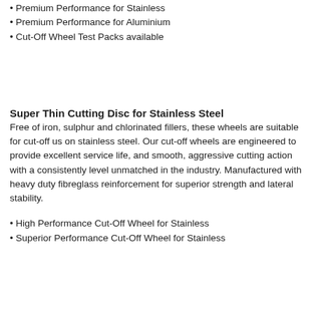• Premium Performance for Stainless
• Premium Performance for Aluminium
• Cut-Off Wheel Test Packs available
Super Thin Cutting Disc for Stainless Steel
Free of iron, sulphur and chlorinated fillers, these wheels are suitable for cut-off us on stainless steel. Our cut-off wheels are engineered to provide excellent service life, and smooth, aggressive cutting action with a consistently level unmatched in the industry. Manufactured with heavy duty fibreglass reinforcement for superior strength and lateral stability.
• High Performance Cut-Off Wheel for Stainless
• Superior Performance Cut-Off Wheel for Stainless
Economy Super Thin Cutting Discs
Superior economy? How can that be? We can lower your price per disc spend by reducing the quality of of product, that is easy. I am sure you have all used discs that pretty much turn to dust as soon as you start using them. Our economy discs are different; they give a good performance for their price. These discs are great f lighter users